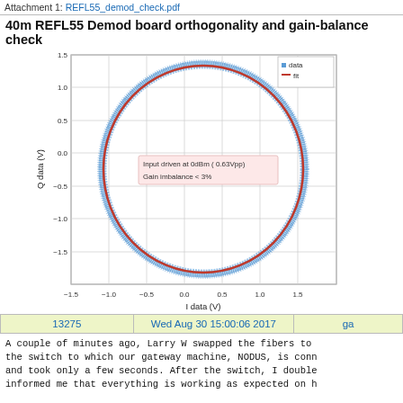Attachment 1: REFL55_demod_check.pdf
40m REFL55 Demod board orthogonality and gain-balance check
[Figure (continuous-plot): IQ scatter plot showing blue data points forming a near-perfect circle with radius ~1.6V, overlaid with a red ellipse fit. X-axis: I data (V) ranging from -1.5 to 1.5. Y-axis: Q data (V) ranging from -1.5 to 1.5. Annotation box: 'Input driven at 0dBm (0.63Vpp) / Gain imbalance < 3%'. Legend shows blue dot = data, red line = fit.]
| 13275 | Wed Aug 30 15:00:06 2017 | ga |
| --- | --- | --- |
A couple of minutes ago, Larry W swapped the fibers to the switch to which our gateway machine, NODUS, is conn and took only a few seconds. After the switch, I double informed me that everything is working as expected on h

Larry also tells us that the other edgeswitch at the 40 connected, is a 100MBPS switch, and so we should re-rou